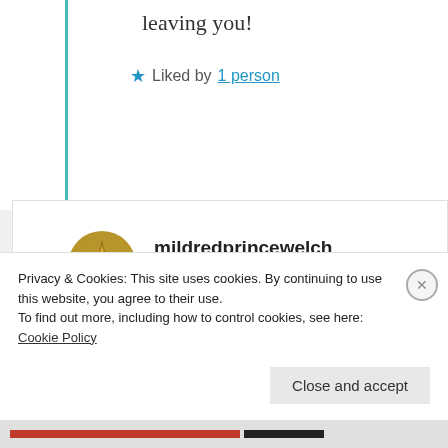leaving you!
★ Liked by 1 person
mildredprincewelch
11th Jul 2021 at 11:35 am
There is no such thing as emotion intelligence, but there is such a thing as the gender gap, that women allowed
Privacy & Cookies: This site uses cookies. By continuing to use this website, you agree to their use.
To find out more, including how to control cookies, see here: Cookie Policy
Close and accept